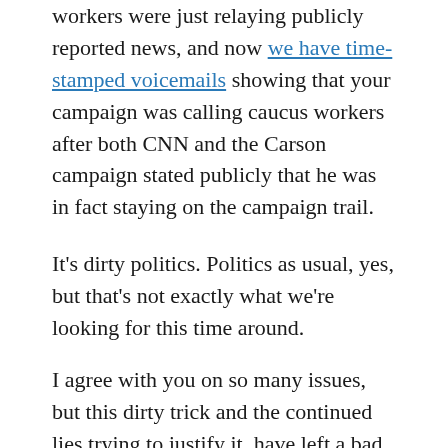workers were just relaying publicly reported news, and now we have time-stamped voicemails showing that your campaign was calling caucus workers after both CNN and the Carson campaign stated publicly that he was in fact staying on the campaign trail.
It's dirty politics. Politics as usual, yes, but that's not exactly what we're looking for this time around.
I agree with you on so many issues, but this dirty trick and the continued lies trying to justify it, have left a bad taste in my mouth.
And then I find out about the mailer